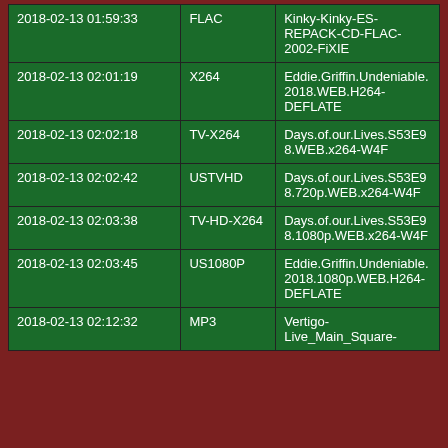| Date/Time | Type | Name |
| --- | --- | --- |
| 2018-02-13 01:59:33 | FLAC | Kinky-Kinky-ES-REPACK-CD-FLAC-2002-FiXIE |
| 2018-02-13 02:01:19 | X264 | Eddie.Griffin.Undeniable.2018.WEB.H264-DEFLATE |
| 2018-02-13 02:02:18 | TV-X264 | Days.of.our.Lives.S53E98.WEB.x264-W4F |
| 2018-02-13 02:02:42 | USTVHD | Days.of.our.Lives.S53E98.720p.WEB.x264-W4F |
| 2018-02-13 02:03:38 | TV-HD-X264 | Days.of.our.Lives.S53E98.1080p.WEB.x264-W4F |
| 2018-02-13 02:03:45 | US1080P | Eddie.Griffin.Undeniable.2018.1080p.WEB.H264-DEFLATE |
| 2018-02-13 02:12:32 | MP3 | Vertigo-Live_Main_Square- |